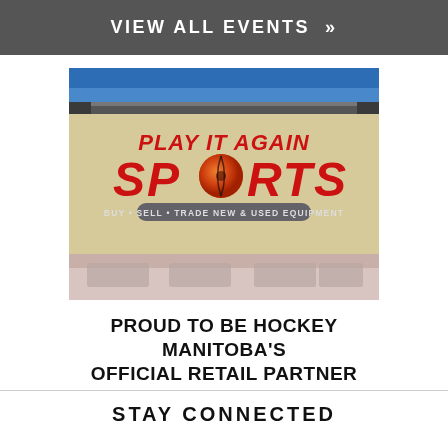VIEW ALL EVENTS »
[Figure (photo): Play It Again Sports store exterior sign. Red text reads 'PLAY IT AGAIN SPORTS' with a hockey puck logo. Below the sign: 'BUY • SELL • TRADE NEW & USED EQUIPMENT'. Bottom text reads 'PROUD TO BE HOCKEY MANITOBA'S OFFICIAL RETAIL PARTNER'.]
STAY CONNECTED